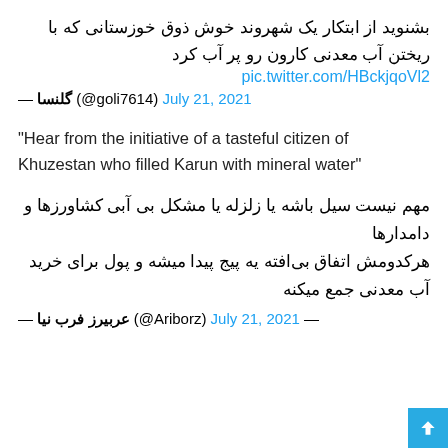بشنوید از ابتکار یک شهروند خوش ذوق خوزستانی که با ریختن آب معدنی کارون رو پر آب کرد
pic.twitter.com/HBckjqoVl2
— گلنسا (@goli7614) July 21, 2021
"Hear from the initiative of a tasteful citizen of Khuzestan who filled Karun with mineral water"
مهم نیست سیل باشه یا زلزله یا مشکل بی آبی کشاورزها و دامدارها
هرکدومش اتفاق بی‌افته یه پیج پیدا میشه و پول برای خرید آب معدنی جمع میکنه
— عربیرز فرب نیا (@Ariborz) July 21, 2021